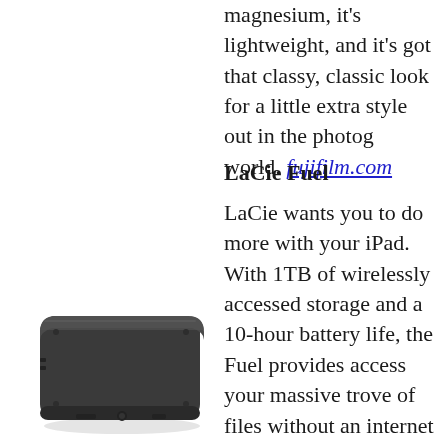magnesium, it’s lightweight, and it’s got that classy, classic look for a little extra style out in the photog world. fujifilm.com
LaCie Fuel
LaCie wants you to do more with your iPad. With 1TB of wirelessly accessed storage and a 10-hour battery life, the Fuel provides access your massive trove of files without an internet connection. The thing generates its own wi-fi signal, connecting up to five devices simultaneously.
[Figure (photo): LaCie Fuel wireless hard drive device, a dark gray/black square flat box with rounded corners, viewed from a slight angle.]